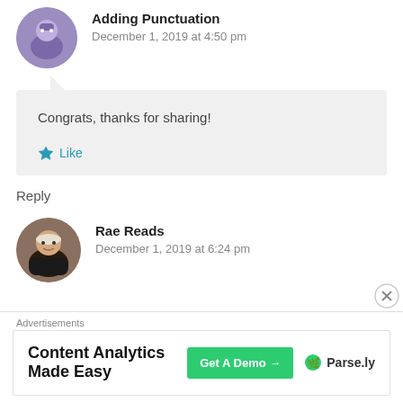Adding Punctuation
December 1, 2019 at 4:50 pm
Congrats, thanks for sharing!
Like
Reply
Rae Reads
December 1, 2019 at 6:24 pm
Advertisements
Content Analytics Made Easy
Get A Demo →
Parse.ly